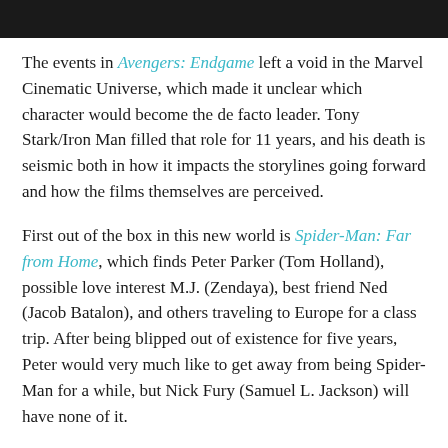[Figure (photo): Dark photo strip at the top of the page]
The events in Avengers: Endgame left a void in the Marvel Cinematic Universe, which made it unclear which character would become the de facto leader. Tony Stark/Iron Man filled that role for 11 years, and his death is seismic both in how it impacts the storylines going forward and how the films themselves are perceived.
First out of the box in this new world is Spider-Man: Far from Home, which finds Peter Parker (Tom Holland), possible love interest M.J. (Zendaya), best friend Ned (Jacob Batalon), and others traveling to Europe for a class trip. After being blipped out of existence for five years, Peter would very much like to get away from being Spider-Man for a while, but Nick Fury (Samuel L. Jackson) will have none of it.